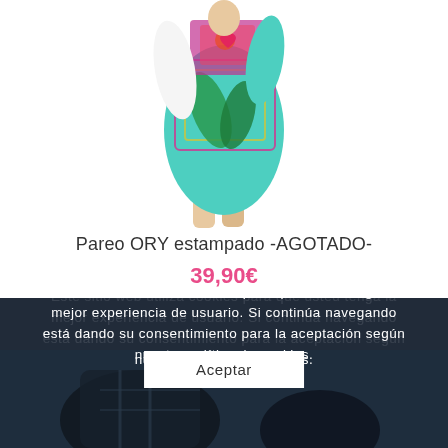[Figure (photo): Product photo of a woman wearing a colorful printed pareo/sarong with tropical and geometric patterns, white background.]
Pareo ORY estampado -AGOTADO-
39,90€
Este sitio web utiliza cookies para que usted tenga la mejor experiencia de usuario. Si continúa navegando está dando su consentimiento para la aceptación según nuestra política de cookies.
Aceptar
[Figure (photo): Partial product photo at the bottom, dark toned garment.]